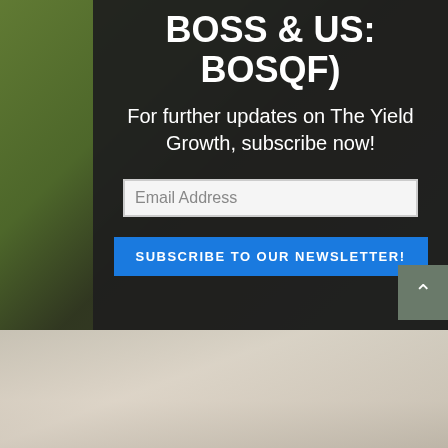BOSS & US: BOSQF)
For further updates on The Yield Growth, subscribe now!
Email Address
SUBSCRIBE TO OUR NEWSLETTER!
[Figure (photo): Green tropical leaves background image visible at bottom of page, faded/blurred]